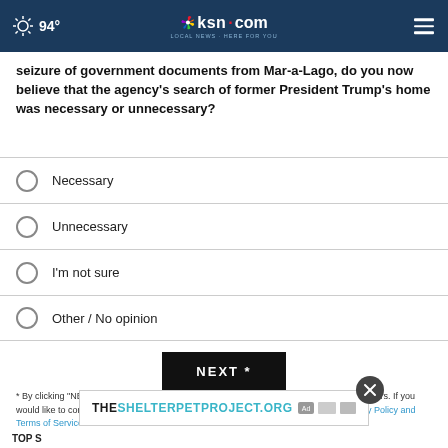94° ksn.com LOCAL NEWS · HERE FOR YOU
seizure of government documents from Mar-a-Lago, do you now believe that the agency's search of former President Trump's home was necessary or unnecessary?
Necessary
Unnecessary
I'm not sure
Other / No opinion
NEXT *
* By clicking "NEXT" you agree to the following: We use cookies to track your survey answers. If you would like to continue with this survey, please read and agree to the CivicScience Privacy Policy and Terms of Service
[Figure (other): Advertisement banner for THESHELTERPETPROJECT.ORG]
TOP S